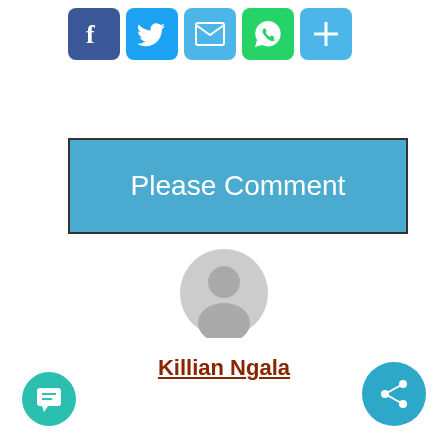[Figure (infographic): Row of social share icon buttons: Facebook (blue), Twitter (blue), Mail (light blue), WhatsApp (green), More/Share (light blue)]
[Figure (illustration): A large light blue 'Please Comment' button with dark border]
[Figure (illustration): Generic gray user avatar icon (circle with person silhouette)]
Killian Ngala
[Figure (illustration): Teal circular chat/comment button at bottom left]
[Figure (illustration): Blue circular share button at bottom right]